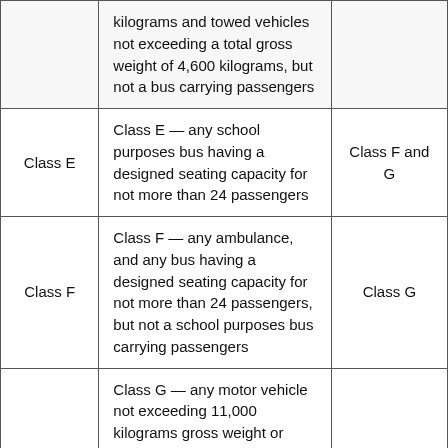| Class | Description | Also Requires |
| --- | --- | --- |
|  | kilograms and towed vehicles not exceeding a total gross weight of 4,600 kilograms, but not a bus carrying passengers |  |
| Class E | Class E — any school purposes bus having a designed seating capacity for not more than 24 passengers | Class F and G |
| Class F | Class F — any ambulance, and any bus having a designed seating capacity for not more than 24 passengers, but not a school purposes bus carrying passengers | Class G |
| Class G | Class G — any motor vehicle not exceeding 11,000 kilograms gross weight or registered gross weight and any combination of a motor vehicle not exceeding a total gross weight or registered gross weight of 11,000 kilograms and towed vehicles |  |